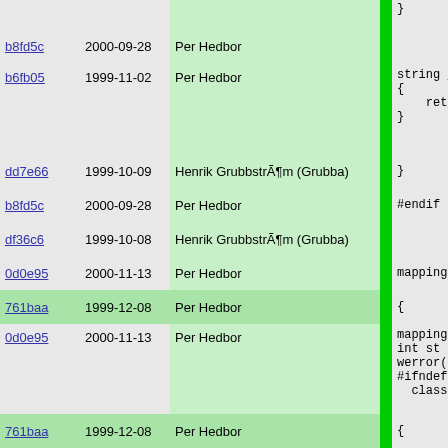| hash | date | author |  | code |
| --- | --- | --- | --- | --- |
|  |  |  |  | } |
| b8fd5c | 2000-09-28 | Per Hedbor | | |  |
| b6fb05 | 1999-11-02 | Per Hedbor | | | string _
{
    return
} |
| dd7e66 | 1999-10-09 | Henrik GrubbstrÃ¶m (Grubba) | | | } |
| b8fd5c | 2000-09-28 | Per Hedbor | | | #endif |
| df36c6 | 1999-10-08 | Henrik GrubbstrÃ¶m (Grubba) | | |  |
| 0d0e95 | 2000-11-13 | Per Hedbor | | | mapping(st |
| 761baa | 1999-12-08 | Per Hedbor | | | { |
| 0d0e95 | 2000-11-13 | Per Hedbor | | | mapping
int st =
werror("
#ifndef DE
  class la |
| 761baa | 1999-12-08 | Per Hedbor | | | { |
| 0d0e95 | 2000-11-13 | Per Hedbor | | |     progra
    static |
| 761baa | 1999-12-08 | Per Hedbor | | | { |
| 0d0e95 | 2000-11-13 | Per Hedbor | | |     if(
    re |